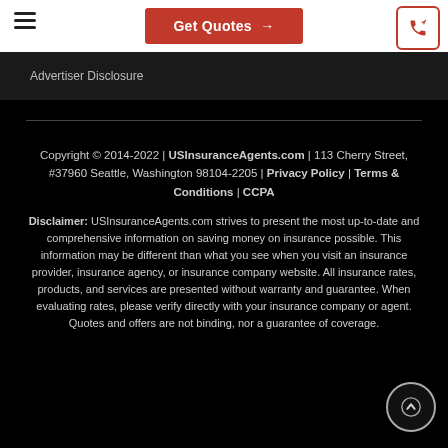Get Quotes →
Advertiser Disclosure
Copyright © 2014-2022 | USInsuranceAgents.com | 113 Cherry Street, #37960 Seattle, Washington 98104-2205 | Privacy Policy | Terms & Conditions | CCPA
Disclaimer: USInsuranceAgents.com strives to present the most up-to-date and comprehensive information on saving money on insurance possible. This information may be different than what you see when you visit an insurance provider, insurance agency, or insurance company website. All insurance rates, products, and services are presented without warranty and guarantee. When evaluating rates, please verify directly with your insurance company or agent. Quotes and offers are not binding, nor a guarantee of coverage.